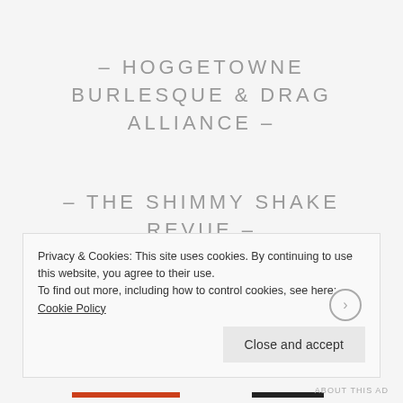– HOGGETOWNE BURLESQUE & DRAG ALLIANCE –
– THE SHIMMY SHAKE REVUE –
BREAKAWAY BURLESQUE
Privacy & Cookies: This site uses cookies. By continuing to use this website, you agree to their use.
To find out more, including how to control cookies, see here: Cookie Policy
Close and accept